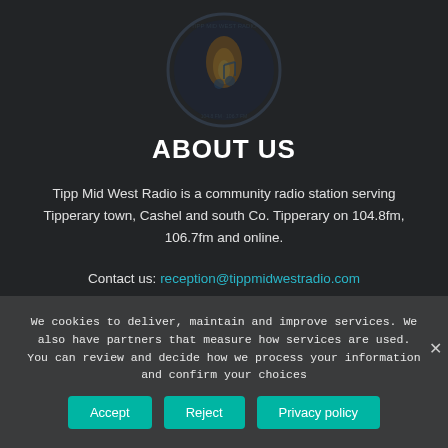[Figure (logo): Tipp Mid West Radio circular logo with flame/music note graphic, shown as watermark in top center]
ABOUT US
Tipp Mid West Radio is a community radio station serving Tipperary town, Cashel and south Co. Tipperary on 104.8fm, 106.7fm and online.
Contact us: reception@tippmidwestradio.com
We cookies to deliver, maintain and improve services. We also have partners that measure how services are used. You can review and decide how we process your information and confirm your choices
Accept | Reject | Privacy policy